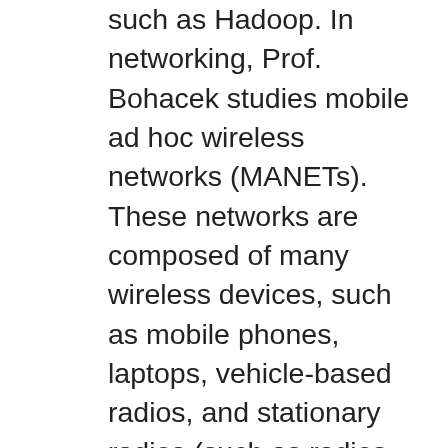such as Hadoop. In networking, Prof. Bohacek studies mobile ad hoc wireless networks (MANETs). These networks are composed of many wireless devices, such as mobile phones, laptops, vehicle-based radios, and stationary radios (such as radios mounted on lampposts). Mobility of the radios and interference between multiple radios introduce many complications when designing protocols and understanding radio performance. Besides MANETs, Prof. Bohacek is interested in wireline networking, such as transport (e.g., TCP) and routing. In all of these research topics, he utilizes, in equal